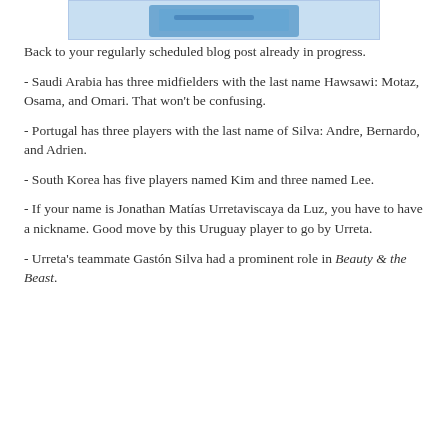[Figure (photo): Partial image of a blue box/product at the top of the page]
Back to your regularly scheduled blog post already in progress.
- Saudi Arabia has three midfielders with the last name Hawsawi: Motaz, Osama, and Omari. That won't be confusing.
- Portugal has three players with the last name of Silva: Andre, Bernardo, and Adrien.
- South Korea has five players named Kim and three named Lee.
- If your name is Jonathan Matías Urretaviscaya da Luz, you have to have a nickname. Good move by this Uruguay player to go by Urreta.
- Urreta's teammate Gastón Silva had a prominent role in Beauty & the Beast.